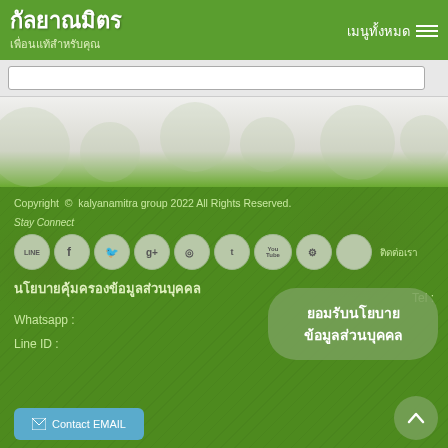กัลยาณมิตร / เพื่อนแท้สำหรับคุณ / เมนูทั้งหมด
[Search bar input field]
[Figure (screenshot): Decorative area with light gray/green gradient background and faint circular icon patterns]
Copyright © kalyanamitra group 2022 All Rights Reserved.
Stay Connect
[Figure (infographic): Row of social media icon circles: LINE, Facebook, Twitter, Google+, RSS, Tumblr, YouTube, Android, Apple. Text 'ติดต่อเรา' to the right.]
นโยบายคุ้มครองข้อมูลส่วนบุคคล
Tel :
Whatsapp :
ยอมรับนโยบายข้อมูลส่วนบุคคล
Line ID :
Contact EMAIL
↑ scroll to top button